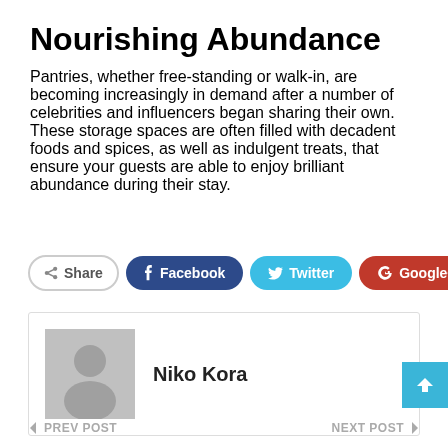Nourishing Abundance
Pantries, whether free-standing or walk-in, are becoming increasingly in demand after a number of celebrities and influencers began sharing their own. These storage spaces are often filled with decadent foods and spices, as well as indulgent treats, that ensure your guests are able to enjoy brilliant abundance during their stay.
[Figure (infographic): Social share bar with Share, Facebook, Twitter, Google+, and + buttons]
[Figure (infographic): Author box with placeholder avatar and name Niko Kora]
[Figure (infographic): Scroll to top button (blue, arrow up) and prev/next post navigation bar]